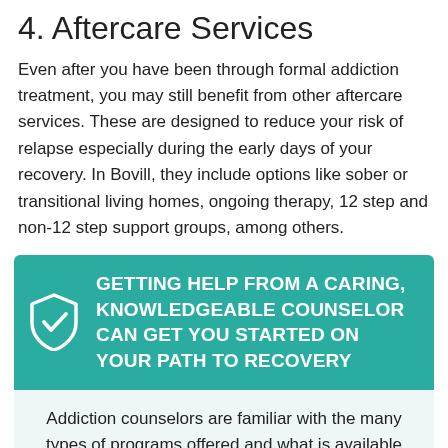4. Aftercare Services
Even after you have been through formal addiction treatment, you may still benefit from other aftercare services. These are designed to reduce your risk of relapse especially during the early days of your recovery. In Bovill, they include options like sober or transitional living homes, ongoing therapy, 12 step and non-12 step support groups, among others.
[Figure (infographic): Teal banner with a white shield-checkmark icon on the left and bold white uppercase text: GETTING HELP FROM A CARING, KNOWLEDGEABLE COUNSELOR CAN GET YOU STARTED ON YOUR PATH TO RECOVERY]
Addiction counselors are familiar with the many types of programs offered and what is available in your area. They also can do an assessment with you and